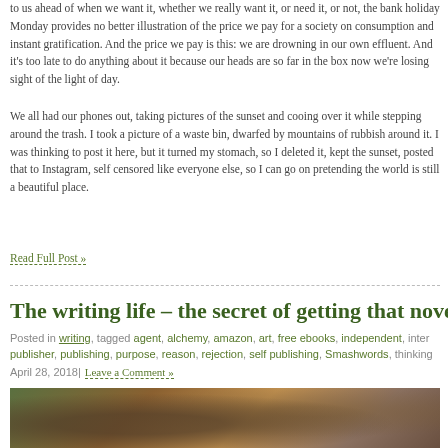to us ahead of when we want it, whether we really want it, or need it, or not, the bank holiday Monday provides no better illustration of the price we pay for a society on consumption and instant gratification. And the price we pay is this: we are drowning in our own effluent. And it's too late to do anything about it because our heads are so far in the box now we're losing sight of the light of day.
We all had our phones out, taking pictures of the sunset and cooing over it while stepping around the trash. I took a picture of a waste bin, dwarfed by mountains of rubbish around it. I was thinking to post it here, but it turned my stomach, so I deleted it, kept the sunset, posted that to Instagram, self censored like everyone else, so I can go on pretending the world is still a beautiful place.
Read Full Post »
The writing life – the secret of getting that novel p
Posted in writing, tagged agent, alchemy, amazon, art, free ebooks, independent, inter publisher, publishing, purpose, reason, rejection, self publishing, Smashwords, thinking
April 28, 2018| Leave a Comment »
[Figure (photo): A dark, warmly-toned photograph showing a person among bookshelves filled with old books, evoking a literary or historical atmosphere.]